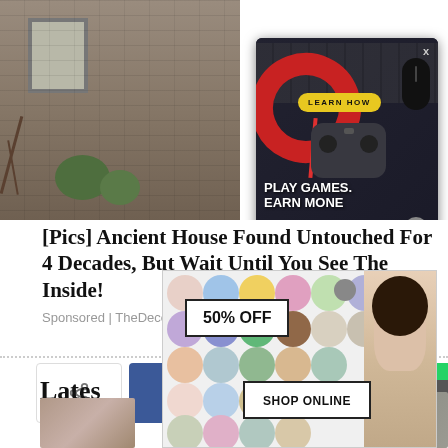[Figure (screenshot): Top banner showing a house photo on the left and an ad overlay on the right with keyboard, red headphones, game controller, 'LEARN HOW' yellow badge, and 'PLAY GAMES. EARN MONE' text]
[Pics] Ancient House Found Untouched For 4 Decades, But Wait Until You See The Inside!
Sponsored | TheDecorIdeas
[Figure (other): Navigation dots: small dot and large filled dot]
[Figure (other): Social share bar with share icon, Facebook, Twitter, Pinterest, WhatsApp, and Telegram buttons]
close
Lates
[Figure (advertisement): Glitter nail polish ad showing colorful glitter circles, '50% OFF' box, 'SHOP ONLINE' box, and model photo on right]